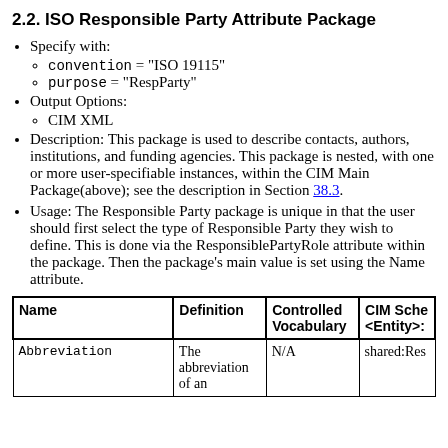2.2. ISO Responsible Party Attribute Package
Specify with:
convention = "ISO 19115"
purpose = "RespParty"
Output Options:
CIM XML
Description: This package is used to describe contacts, authors, institutions, and funding agencies. This package is nested, with one or more user-specifiable instances, within the CIM Main Package(above); see the description in Section 38.3.
Usage: The Responsible Party package is unique in that the user should first select the type of Responsible Party they wish to define. This is done via the ResponsiblePartyRole attribute within the package. Then the package's main value is set using the Name attribute.
| Name | Definition | Controlled Vocabulary | CIM Sche <Entity>: |
| --- | --- | --- | --- |
| Abbreviation | The abbreviation of an | N/A | shared:Res |